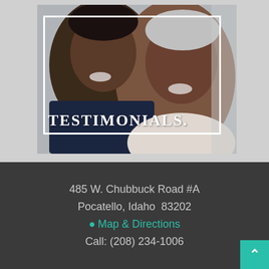[Figure (photo): Photo of a smiling older couple, man and woman, with the word TESTIMONIALS. overlaid in white serif text and a white rectangular border frame on the image]
485 W. Chubbuck Road #A
Pocatello, Idaho  83202
Map & Directions
Call: (208) 234-1006